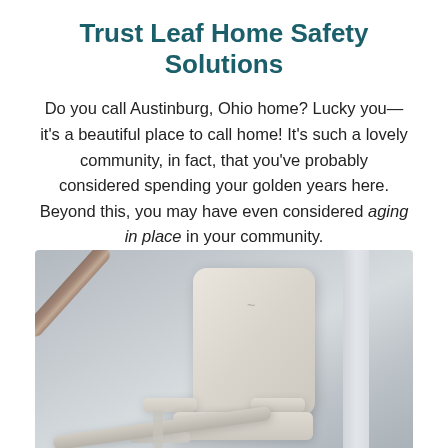Trust Leaf Home Safety Solutions
Do you call Austinburg, Ohio home? Lucky you—it's a beautiful place to call home! It's such a lovely community, in fact, that you've probably considered spending your golden years here. Beyond this, you may have even considered aging in place in your community.
[Figure (photo): Photo of a stairlift chair mounted on a stair rail, showing the cream-colored upholstered seat back, armrests, and seat, with a rail visible and a walking cane in the upper left background.]